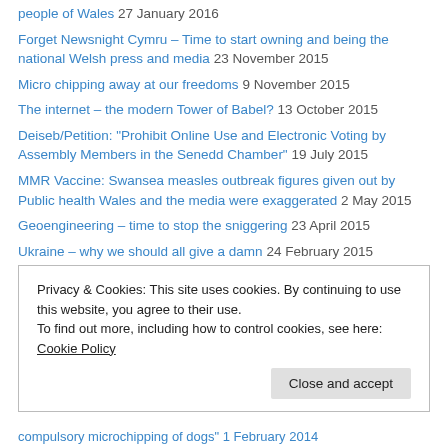people of Wales 27 January 2016
Forget Newsnight Cymru – Time to start owning and being the national Welsh press and media 23 November 2015
Micro chipping away at our freedoms 9 November 2015
The internet – the modern Tower of Babel? 13 October 2015
Deiseb/Petition: "Prohibit Online Use and Electronic Voting by Assembly Members in the Senedd Chamber" 19 July 2015
MMR Vaccine: Swansea measles outbreak figures given out by Public health Wales and the media were exaggerated 2 May 2015
Geoengineering – time to stop the sniggering 23 April 2015
Ukraine – why we should all give a damn 24 February 2015
Welsh Government demonstrates how not to engage people in politics 22 July 2014
Privacy & Cookies: This site uses cookies. By continuing to use this website, you agree to their use. To find out more, including how to control cookies, see here: Cookie Policy
compulsory microchipping of dogs" 1 February 2014